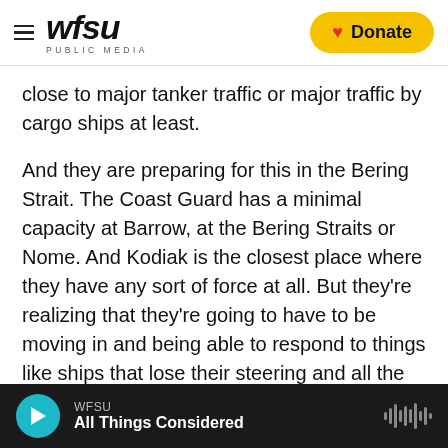WFSU PUBLIC MEDIA
close to major tanker traffic or major traffic by cargo ships at least.
And they are preparing for this in the Bering Strait. The Coast Guard has a minimal capacity at Barrow, at the Bering Straits or Nome. And Kodiak is the closest place where they have any sort of force at all. But they're realizing that they're going to have to be moving in and being able to respond to things like ships that lose their steering and all the other things that can happen to ships at sea.
CONAN: Hard for people to understand just how far
WFSU All Things Considered